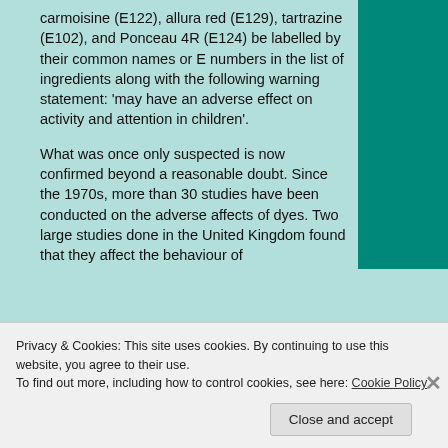carmoisine (E122), allura red (E129), tartrazine (E102), and Ponceau 4R (E124) be labelled by their common names or E numbers in the list of ingredients along with the following warning statement: 'may have an adverse effect on activity and attention in children'.
What was once only suspected is now confirmed beyond a reasonable doubt. Since the 1970s, more than 30 studies have been conducted on the adverse affects of dyes. Two large studies done in the United Kingdom found that they affect the behaviour of
Privacy & Cookies: This site uses cookies. By continuing to use this website, you agree to their use.
To find out more, including how to control cookies, see here: Cookie Policy
Close and accept